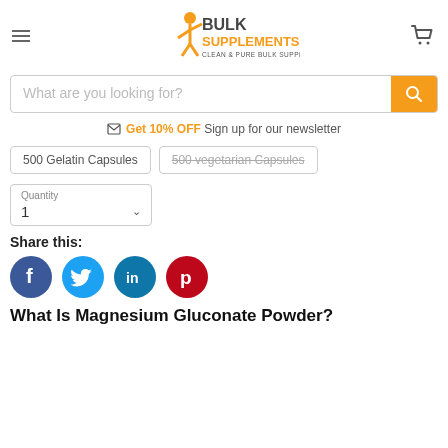[Figure (logo): BulkSupplements.com logo with orange figure and text 'BULK SUPPLEMENTS.com CLEAN & PURE BULK SUPPLEMENTS']
What are you looking for?
Get 10% OFF Sign up for our newsletter
500 Gelatin Capsules
500 vegetarian Capsules
Quantity
1
Share this:
[Figure (illustration): Social media icons: Facebook (blue circle with f), Twitter (blue circle with bird), LinkedIn (teal circle with in), Pinterest (red circle with P)]
What Is Magnesium Gluconate Powder?